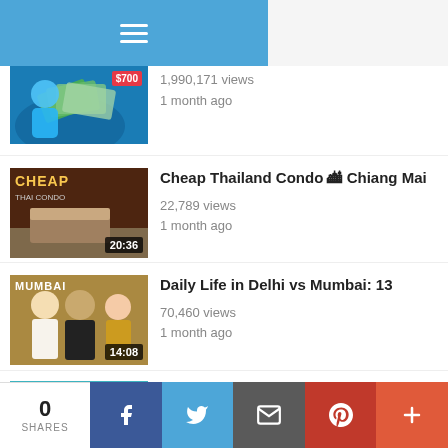Navigation menu (hamburger icon)
1,990,171 views
1 month ago
Cheap Thailand Condo 🏙️ Chiang Mai
22,789 views
1 month ago
Daily Life in Delhi vs Mumbai: 13
70,460 views
1 month ago
Thailand Cost of Living 2022 🏙️ Is
8,201 views
1 month ago
0 SHARES | Facebook | Twitter | Email | Pinterest | More